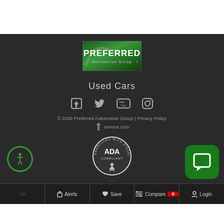[Figure (logo): Preferred Automotive Group logo — green metallic background with white bold text reading PREFERRED and subtitle Automotive Group]
Used Cars
[Figure (other): Social media icons: Facebook, Twitter, YouTube, Instagram]
© 2022 Preferred Automotive Group | Privacy Policy
remora.com
[Figure (other): ADA Compliant seal — circular badge with text Americans with Disabilities Act and ADA Compliant in center]
[Figure (other): Accessibility icon button — circle with wheelchair accessible person icon, green border]
[Figure (other): Green rounded square chat button with speech bubble icon]
List  Alerts  Save  Compare 0  Login